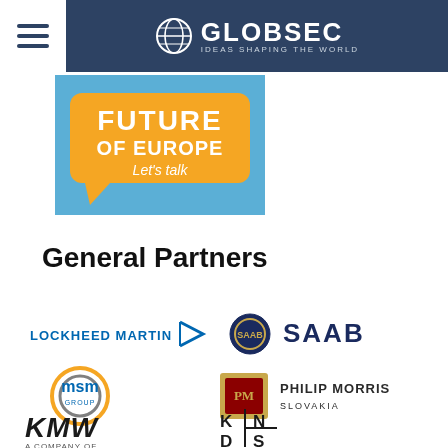GLOBSEC — IDEAS SHAPING THE WORLD
[Figure (logo): Future of Europe - Let's talk banner with orange speech bubble on blue background]
General Partners
[Figure (logo): Lockheed Martin logo]
[Figure (logo): SAAB logo]
[Figure (logo): MSM Group logo]
[Figure (logo): Philip Morris Slovakia logo]
[Figure (logo): KMW - A Company Of logo]
[Figure (logo): KNDS logo]